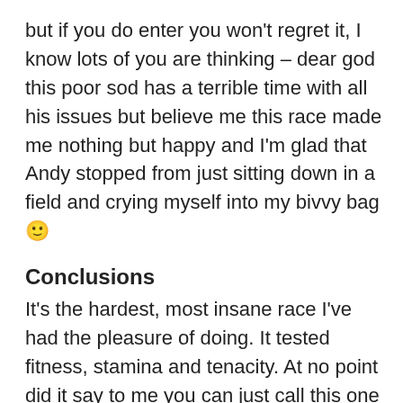but if you do enter you won't regret it, I know lots of you are thinking – dear god this poor sod has a terrible time with all his issues but believe me this race made me nothing but happy and I'm glad that Andy stopped from just sitting down in a field and crying myself into my bivvy bag 🙂
Conclusions
It's the hardest, most insane race I've had the pleasure of doing. It tested fitness, stamina and tenacity. At no point did it say to me you can just call this one in – it demanded respect, it desired my attention.
This event turned me inside out, it made me sick, it made me bleed and it made me cry but it gave me the best memories of running I'll ever have I think – and that's high praise. The Skye Trail Ultra joins the SainteLyon at the